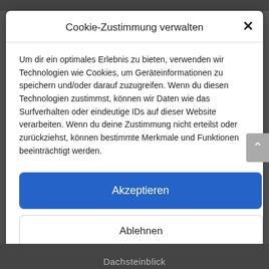Cookie-Zustimmung verwalten
Um dir ein optimales Erlebnis zu bieten, verwenden wir Technologien wie Cookies, um Geräteinformationen zu speichern und/oder darauf zuzugreifen. Wenn du diesen Technologien zustimmst, können wir Daten wie das Surfverhalten oder eindeutige IDs auf dieser Website verarbeiten. Wenn du deine Zustimmung nicht erteilst oder zurückziehst, können bestimmte Merkmale und Funktionen beeinträchtigt werden.
Akzeptieren
Ablehnen
Einstellungen ansehen
Cookie-Richtlinie  Privacy Policy  Imprint